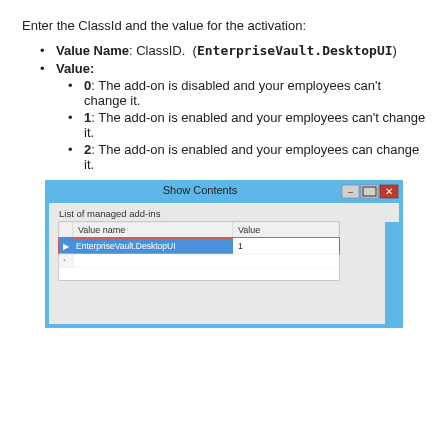Enter the ClassId and the value for the activation:
Value Name: ClassID. (EnterpriseVault.DesktopUI)
Value:
0: The add-on is disabled and your employees can't change it.
1: The add-on is enabled and your employees can't change it.
2: The add-on is enabled and your employees can change it.
[Figure (screenshot): Screenshot of 'Show Contents' dialog window showing a table with columns 'Value name' and 'Value'. The selected row shows 'EnterpriseVault.DesktopUI' with value '1', highlighted in blue and outlined in red.]